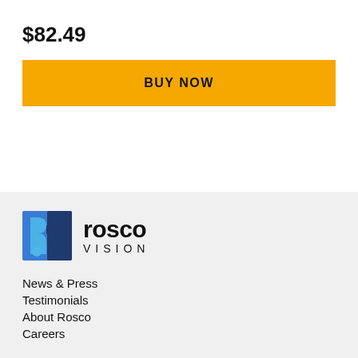$82.49
BUY NOW
[Figure (logo): Rosco Vision logo with stylized blue and navy 'r' icon and text 'rosco VISION']
News & Press
Testimonials
About Rosco
Careers